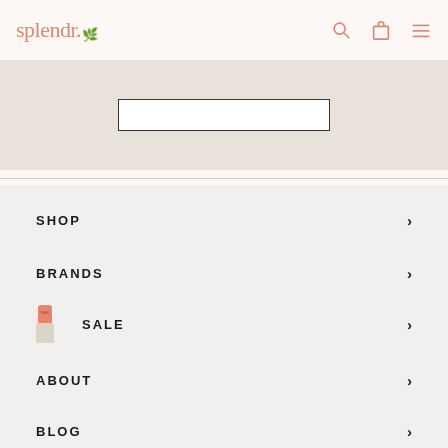splendr.
[Figure (screenshot): Banner image area with a white input/search box outline centered on a beige/gray textured background]
SHOP
BRANDS
SALE
ABOUT
BLOG